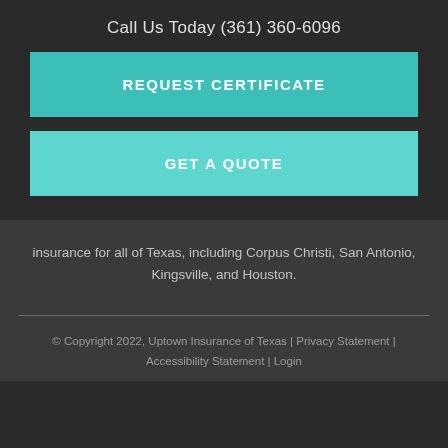Call Us Today (361) 360-6096
REQUEST CERTIFICATE
GET A QUOTE
insurance for all of Texas, including Corpus Christi, San Antonio, Kingsville, and Houston.
© Copyright 2022, Uptown Insurance of Texas | Privacy Statement | Accessibility Statement | Login